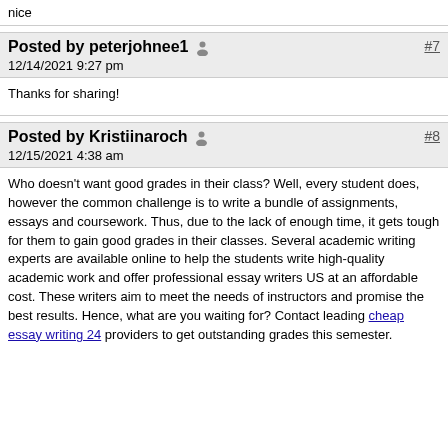nice
Posted by peterjohnee1  #7
12/14/2021 9:27 pm
Thanks for sharing!
Posted by Kristiinaroch  #8
12/15/2021 4:38 am
Who doesn't want good grades in their class? Well, every student does, however the common challenge is to write a bundle of assignments, essays and coursework. Thus, due to the lack of enough time, it gets tough for them to gain good grades in their classes. Several academic writing experts are available online to help the students write high-quality academic work and offer professional essay writers US at an affordable cost. These writers aim to meet the needs of instructors and promise the best results. Hence, what are you waiting for? Contact leading cheap essay writing 24 providers to get outstanding grades this semester.